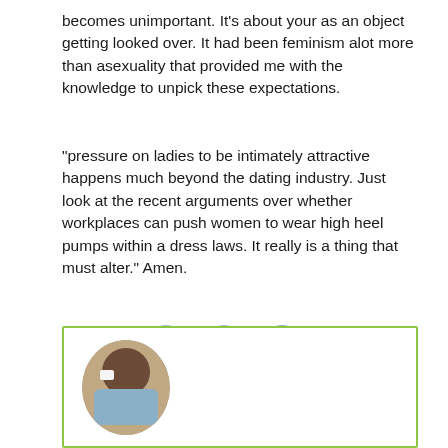becomes unimportant. It's about your as an object getting looked over. It had been feminism alot more than asexuality that provided me with the knowledge to unpick these expectations.
"pressure on ladies to be intimately attractive happens much beyond the dating industry. Just look at the recent arguments over whether workplaces can push women to wear high heel pumps within a dress laws. It really is a thing that must alter." Amen.
[Figure (infographic): Social media share icons: Facebook (f), Twitter (bird), LinkedIn (in) in light blue circular buttons]
[Figure (photo): Author profile photo in circular frame, person wearing white collar and blue clothing, inside a green-bordered author bio box]